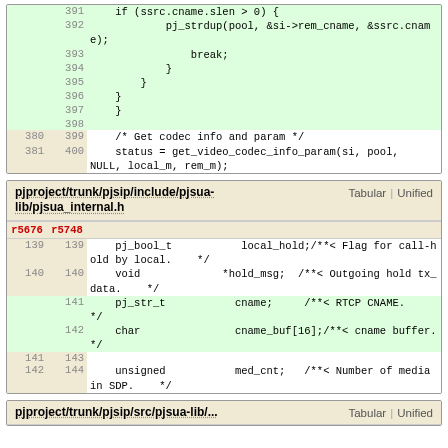| old | new | code |
| --- | --- | --- |
|  | 391 | if (ssrc.cname.slen > 0) { |
|  | 392 |     pj_strdup(pool, &si->rem_cname, &ssrc.cname); |
|  | 393 |         break; |
|  | 394 |     } |
|  | 395 |     } |
|  | 396 |     } |
|  | 397 |     } |
|  | 398 |  |
| 380 | 399 |     /* Get codec info and param */ |
| 381 | 400 |     status = get_video_codec_info_param(si, pool, NULL, local_m, rem_m); |
pjproject/trunk/pjsip/include/pjsua-lib/pjsua_internal.h
| r5676 | r5748 | code |
| --- | --- | --- |
| 139 | 139 |     pj_bool_t    local_hold;/**< Flag for call-hold by local. */ |
| 140 | 140 |     void    *hold_msg;  /**< Outgoing hold tx_data. */ |
|  | 141 |     pj_str_t    cname;    /**< RTCP CNAME.    */ |
|  | 142 |     char    cname_buf[16];/**< cname buffer.    */ |
| 141 | 143 |  |
| 142 | 144 |     unsigned    med_cnt;   /**< Number of media in SDP.    */ |
pjproject/trunk/pjsip/src/pjsua-lib/...